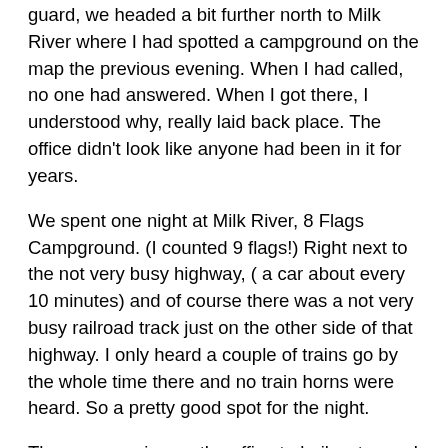guard, we headed a bit further north to Milk River where I had spotted a campground on the map the previous evening.   When I had called, no one had answered.  When I got there, I understood why, really laid back place.  The office didn't look like anyone had been in it for years.
We spent one night at Milk River, 8 Flags Campground. (I counted 9 flags!)  Right next to the not very busy highway,  ( a car about every 10 minutes) and of course there was a not very busy railroad track just on the other side of that highway.   I only heard a couple of trains go by the whole time there and no train horns were heard.   So a pretty good spot for the night.
There was a sign on the office to boil water, so I didn't hook that up.  I just connected up to the 30 amp shore power that didn't have a visible circuit breaker.   I really needed to experiment with that power to see what exactly we can run in the coach at the same time when